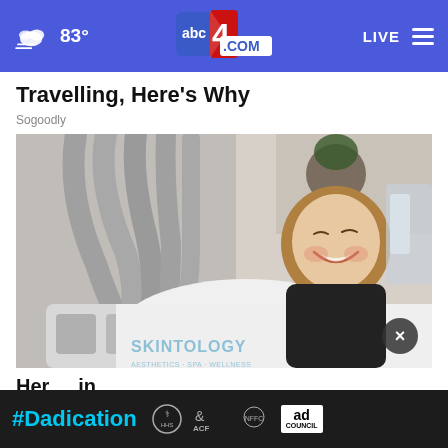83° abc4.com LIVE
Travelling, Here's Why
Sogoodly
[Figure (photo): Woman smiling while lying on a medical/aesthetic treatment bed with multiple grey hose-like applicators attached; branded 'SKINTOLOGY' visible on white draping]
Here ... in 202...
#Dadication ad council banner advertisement